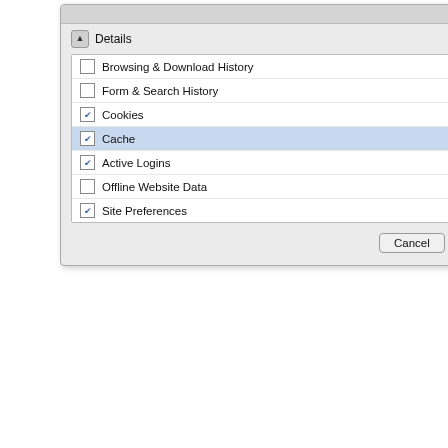[Figure (screenshot): Firefox 'Clear Recent History' dialog showing a checklist with Details section expanded. Items: Browsing & Download History (unchecked), Form & Search History (unchecked), Cookies (checked), Cache (checked, highlighted), Active Logins (checked), Offline Website Data (unchecked), Site Preferences (checked). Buttons: Cancel and Clear Now.]